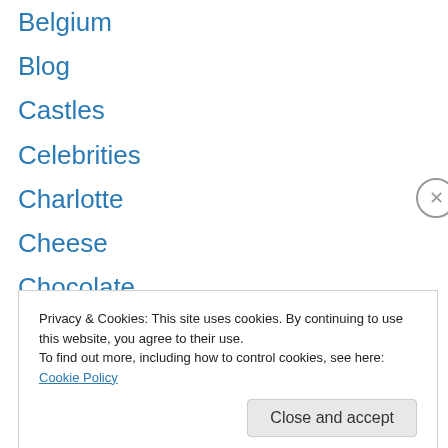Belgium
Blog
Castles
Celebrities
Charlotte
Cheese
Chocolate
Churches
City of Geneva
Climate and Weather
Cows
Crime
Customs
Privacy & Cookies: This site uses cookies. By continuing to use this website, you agree to their use.
To find out more, including how to control cookies, see here: Cookie Policy